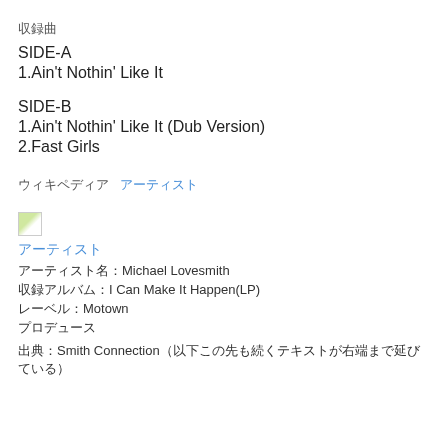收録曲
SIDE-A
1.Ain't Nothin' Like It
SIDE-B
1.Ain't Nothin' Like It (Dub Version)
2.Fast Girls
ウィキペディア アーティスト
[Figure (photo): Small thumbnail image placeholder]
アーティスト
アーティスト名：Michael Lovesmith
収録アルバム：I Can Make It Happen(LP)
レーベル：Motown
プロデュース
出典：Smith Connection（以下略）